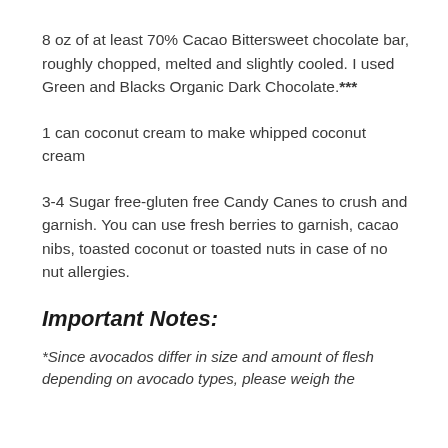8 oz of at least 70% Cacao Bittersweet chocolate bar, roughly chopped, melted and slightly cooled. I used Green and Blacks Organic Dark Chocolate.***
1 can coconut cream to make whipped coconut cream
3-4 Sugar free-gluten free Candy Canes to crush and garnish. You can use fresh berries to garnish, cacao nibs, toasted coconut or toasted nuts in case of no nut allergies.
Important Notes:
*Since avocados differ in size and amount of flesh depending on avocado types, please weigh the